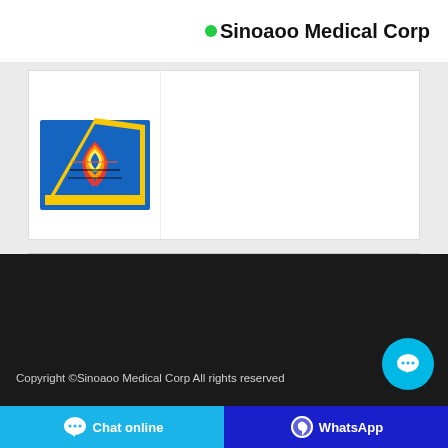Sinoaoo Medical Corp
[Figure (photo): Product image of a colorful triangular/pyramid-shaped medical or diagnostic product with yellow border and colorful spiral pattern on a blue background, partially visible in a white card on light gray background.]
Copyright ©Sinoaoo Medical Corp All rights reserved
Chat online
WhatsApp